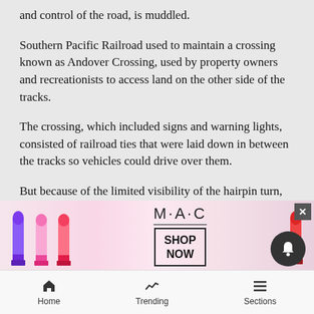and control of the road, is muddled.
Southern Pacific Railroad used to maintain a crossing known as Andover Crossing, used by property owners and recreationists to access land on the other side of the tracks.
The crossing, which included signs and warning lights, consisted of railroad ties that were laid down in between the tracks so vehicles could drive over them.
But because of the limited visibility of the hairpin turn, Union Pacific found the crossing unsafe and dismantled it. Once it was decommissioned, property owners and recreationists resorted to using a concre...to flow...track...
[Figure (photo): MAC Cosmetics advertisement showing lipsticks in purple, pink, and red colors with MAC logo and SHOP NOW button]
Home  Trending  Sections